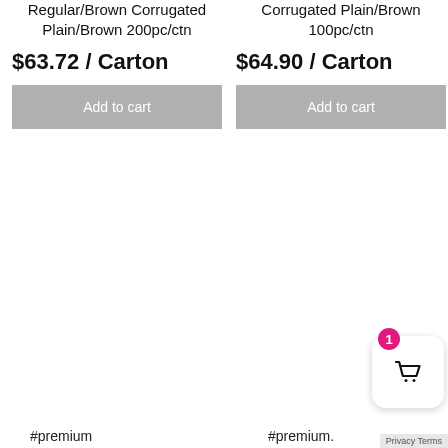Regular/Brown Corrugated Plain/Brown 200pc/ctn
$63.72 / Carton
Add to cart
Corrugated Plain/Brown 100pc/ctn
$64.90 / Carton
Add to cart
#premium
#premium.